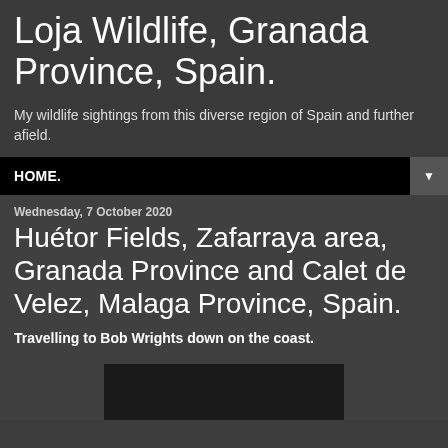Loja Wildlife, Granada Province, Spain.
My wildlife sightings from this diverse region of Spain and further afield.
HOME. ▼
Wednesday, 7 October 2020
Huétor Fields, Zafarraya area, Granada Province and Calet de Velez, Malaga Province, Spain.
Travelling to Bob Wrights down on the coast.
[Figure (photo): Dark/black image placeholder at bottom of page]